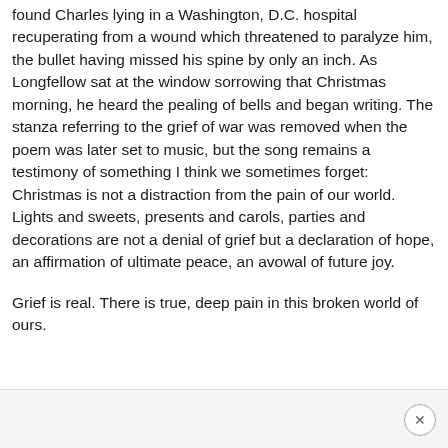found Charles lying in a Washington, D.C. hospital recuperating from a wound which threatened to paralyze him, the bullet having missed his spine by only an inch. As Longfellow sat at the window sorrowing that Christmas morning, he heard the pealing of bells and began writing. The stanza referring to the grief of war was removed when the poem was later set to music, but the song remains a testimony of something I think we sometimes forget: Christmas is not a distraction from the pain of our world. Lights and sweets, presents and carols, parties and decorations are not a denial of grief but a declaration of hope, an affirmation of ultimate peace, an avowal of future joy.
Grief is real. There is true, deep pain in this broken world of ours.